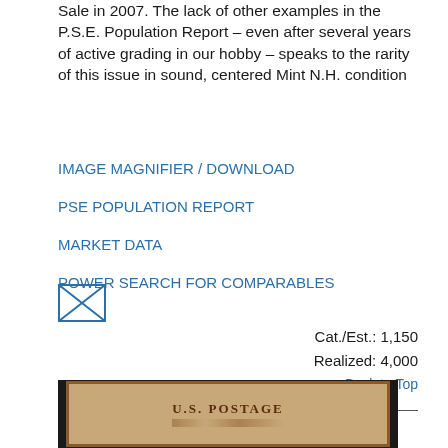Sale in 2007. The lack of other examples in the P.S.E. Population Report -- even after several years of active grading in our hobby -- speaks to the rarity of this issue in sound, centered Mint N.H. condition
IMAGE MAGNIFIER / DOWNLOAD
PSE POPULATION REPORT
MARKET DATA
POWER SEARCH FOR COMPARABLES
[Figure (illustration): Envelope/mail icon (outlined envelope with X marks)]
Cat./Est.: 1,150
Realized: 4,000
Back to Top
Lot: 457 ★★
[Figure (photo): Postage stamp image showing U.S. POSTAGE text, brown coloration on tan background with perforated edges, black background border]